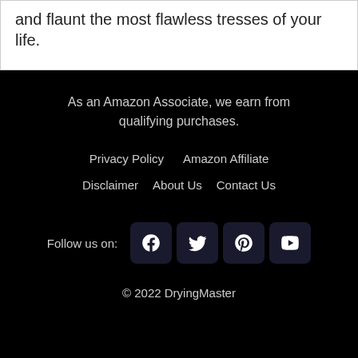and flaunt the most flawless tresses of your life.
As an Amazon Associate, we earn from qualifying purchases.
Privacy Policy   Amazon Affiliate   Disclaimer   About Us   Contact Us
Follow us on:
© 2022 DryingMaster